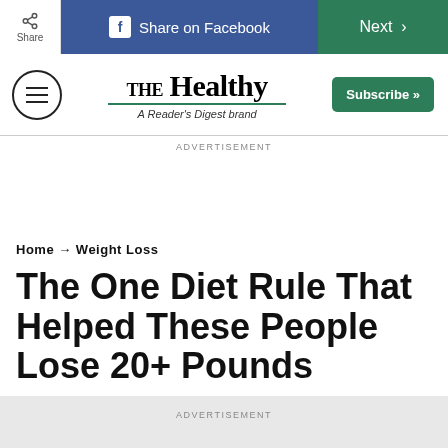Share | Share on Facebook | Next
[Figure (logo): THE Healthy - A Reader's Digest brand logo with hamburger menu and Subscribe button]
ADVERTISEMENT
Home → Weight Loss
The One Diet Rule That Helped These People Lose 20+ Pounds
ADVERTISEMENT